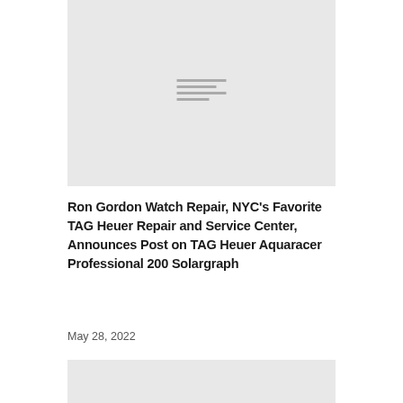[Figure (photo): A light gray placeholder image block with small horizontal lines in the center]
Ron Gordon Watch Repair, NYC’s Favorite TAG Heuer Repair and Service Center, Announces Post on TAG Heuer Aquaracer Professional 200 Solargraph
May 28, 2022
[Figure (photo): A light gray placeholder image block at the bottom]